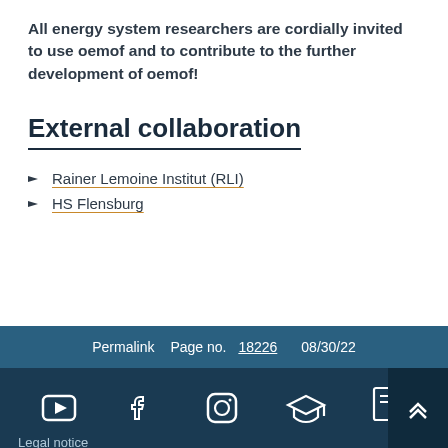All energy system researchers are cordially invited to use oemof and to contribute to the further development of oemof!
External collaboration
Rainer Lemoine Institut (RLI)
HS Flensburg
Permalink   Page no. 18226   08/30/22
[Figure (infographic): Footer bar with social media icons: YouTube, Facebook, Instagram, graduation cap/education icon, document/certificate icon, and a scroll-to-top button with double chevron up arrow. Legal notice text at bottom left.]